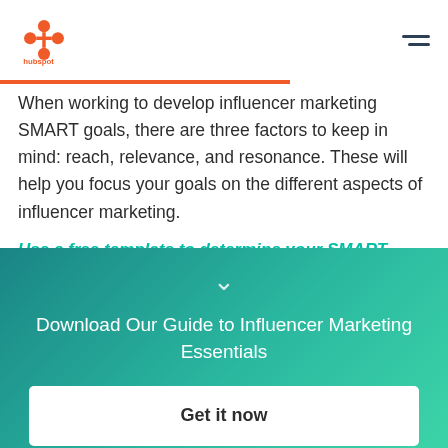HubSpot logo and navigation menu
When working to develop influencer marketing SMART goals, there are three factors to keep in mind: reach, relevance, and resonance. These will help you focus your goals on the different aspects of influencer marketing.
Use a free template to determine your SMART goals.
[Figure (other): Teal/green gradient call-to-action banner with chevron down icon, download guide text, and Get it now button]
Download Our Guide to Influencer Marketing Essentials
Get it now